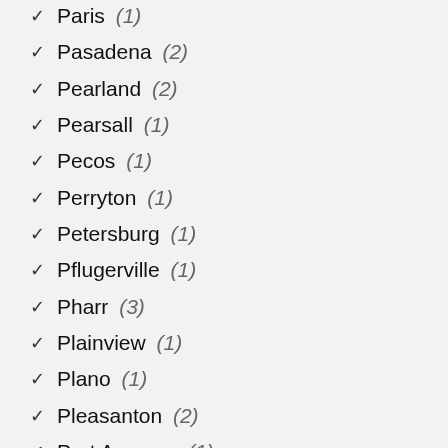Paris (1)
Pasadena (2)
Pearland (2)
Pearsall (1)
Pecos (1)
Perryton (1)
Petersburg (1)
Pflugerville (1)
Pharr (3)
Plainview (1)
Plano (1)
Pleasanton (2)
Port Aransas (1)
Port Arthur (1)
Port Isabel (1)